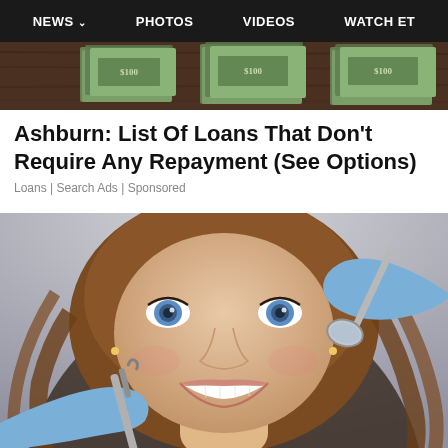NEWS | PHOTOS | VIDEOS | WATCH ET
[Figure (photo): Top hero image showing stacks of US dollar bills on a wooden surface]
Ashburn: List Of Loans That Don't Require Any Repayment (See Options)
Loans | Search Ads | Sponsored
[Figure (photo): Young woman with blue eyes smiling at a dental examination, with dental tools held by blue-gloved hands near her mouth]